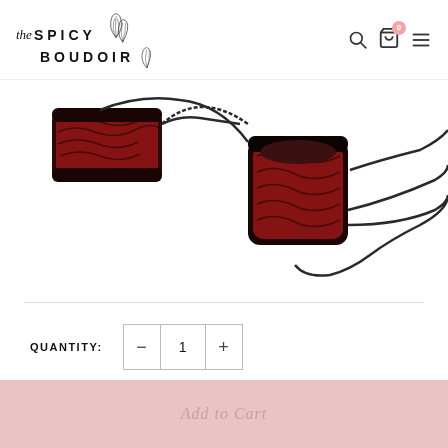The Spicy Boudoir – navigation header with search, cart (0), and menu icons
[Figure (photo): Red and black lace-patterned wrist cuffs / restraints connected by a dark metal chain, displayed on a white background]
QUANTITY: 1
Add to Cart